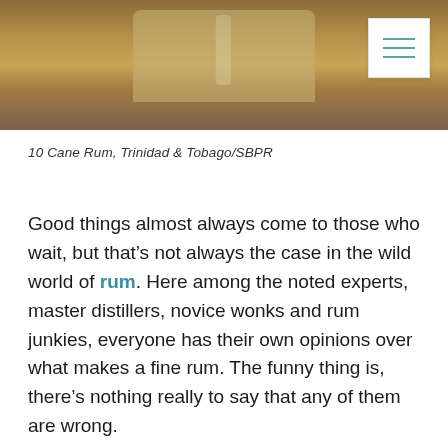[Figure (photo): Photo of a rum bottle bottom on a wooden surface, warm brown tones, with a hamburger menu icon in the top right corner]
10 Cane Rum, Trinidad & Tobago/SBPR
Good things almost always come to those who wait, but that’s not always the case in the wild world of rum. Here among the noted experts, master distillers, novice wonks and rum junkies, everyone has their own opinions over what makes a fine rum. The funny thing is, there’s nothing really to say that any of them are wrong.